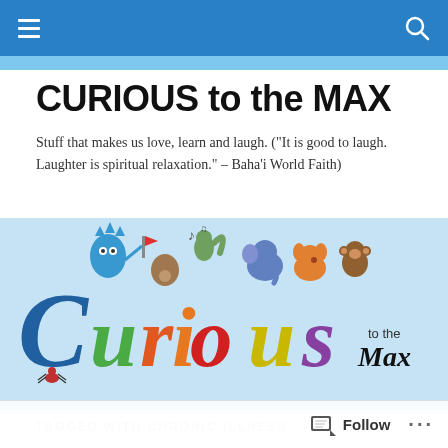CURIOUS to the MAX — navigation bar
CURIOUS to the MAX
Stuff that makes us love, learn and laugh. ("It is good to laugh. Laughter is spiritual relaxation." – Baha'i World Faith)
[Figure (logo): Colorful cartoon logo reading 'Curious to the Max' with animated characters sitting on large decorated letters. Characters include a blue monster, animals, and bugs.]
TAGGED WITH CHRONIC ILLNESS
Who knew I'd be a…
Follow